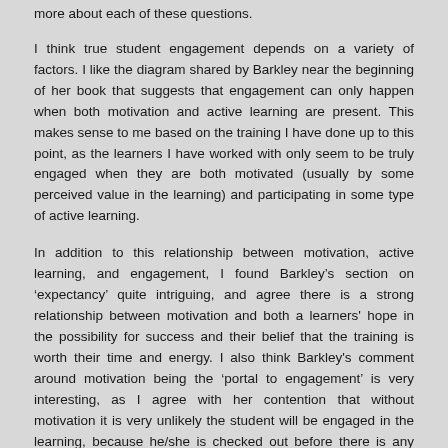more about each of these questions.
I think true student engagement depends on a variety of factors. I like the diagram shared by Barkley near the beginning of her book that suggests that engagement can only happen when both motivation and active learning are present. This makes sense to me based on the training I have done up to this point, as the learners I have worked with only seem to be truly engaged when they are both motivated (usually by some perceived value in the learning) and participating in some type of active learning.
In addition to this relationship between motivation, active learning, and engagement, I found Barkley’s section on ‘expectancy’ quite intriguing, and agree there is a strong relationship between motivation and both a learners' hope in the possibility for success and their belief that the training is worth their time and energy. I also think Barkley's comment around motivation being the ‘portal to engagement’ is very interesting, as I agree with her contention that without motivation it is very unlikely the student will be engaged in the learning, because he/she is checked out before there is any hope of engagement.